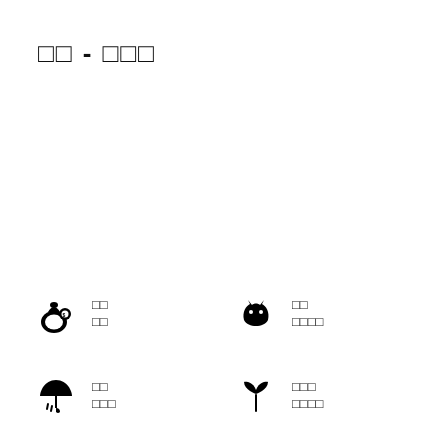□□ - □□□
[Figure (illustration): Money bag with coins icon]
□□
□□
[Figure (illustration): Two cats/animals facing each other icon]
□□
□□□□
[Figure (illustration): Umbrella with rain drops icon]
□□
□□□
[Figure (illustration): Plant sprout with two leaves icon]
□□□
□□□□
[Figure (illustration): Handshake icon]
□□
□□
[Figure (illustration): Hands holding heart icon]
□□□□□□□□